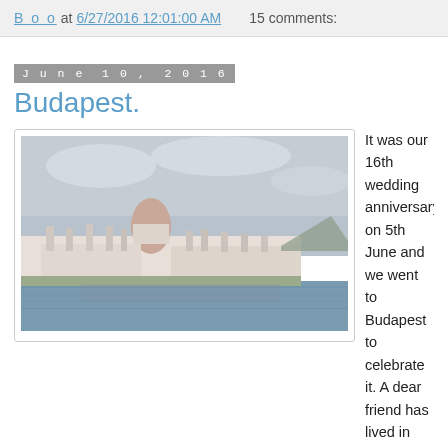Boo at 6/27/2016 12:01:00 AM   15 comments:
June 10, 2016
Budapest.
[Figure (photo): Photograph of the Hungarian Parliament Building in Budapest viewed from across the Danube River, with overcast sky and water in foreground.]
It was our 16th wedding anniversary on 5th June and we went to Budapest to celebrate it. A dear friend has lived in Budapest before moving to Zurich and she said 3 days will be perfect for the city trip and off we went. I know I am easy to please when it comes to places. Give me a museum, a cathedral, a park bench with a view and I am sold. But still I can't describe how beautiful Budapest is. I was not prepared at all and I fell